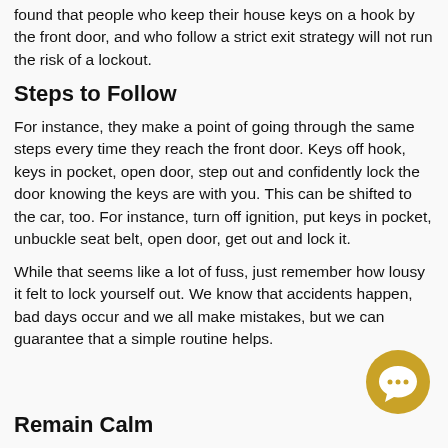found that people who keep their house keys on a hook by the front door, and who follow a strict exit strategy will not run the risk of a lockout.
Steps to Follow
For instance, they make a point of going through the same steps every time they reach the front door. Keys off hook, keys in pocket, open door, step out and confidently lock the door knowing the keys are with you. This can be shifted to the car, too. For instance, turn off ignition, put keys in pocket, unbuckle seat belt, open door, get out and lock it.
While that seems like a lot of fuss, just remember how lousy it felt to lock yourself out. We know that accidents happen, bad days occur and we all make mistakes, but we can guarantee that a simple routine helps.
[Figure (illustration): Gold/yellow circular chat bubble icon]
Remain Calm